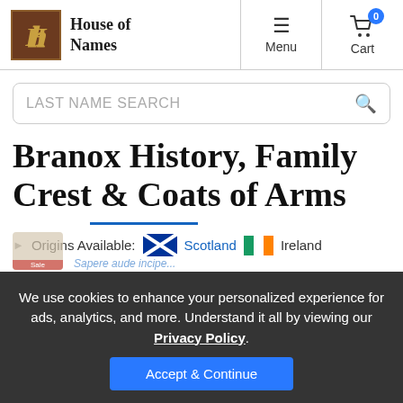House of Names — Menu | Cart (0)
LAST NAME SEARCH
Branox History, Family Crest & Coats of Arms
Origins Available: Scotland Ireland
We use cookies to enhance your personalized experience for ads, analytics, and more. Understand it all by viewing our Privacy Policy.
Accept & Continue